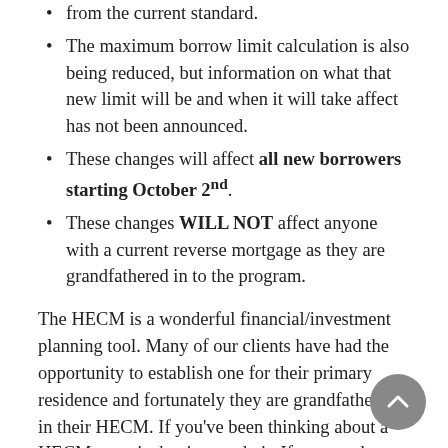from the current standard.
The maximum borrow limit calculation is also being reduced, but information on what that new limit will be and when it will take affect has not been announced.
These changes will affect all new borrowers starting October 2nd.
These changes WILL NOT affect anyone with a current reverse mortgage as they are grandfathered in to the program.
The HECM is a wonderful financial/investment planning tool. Many of our clients have had the opportunity to establish one for their primary residence and fortunately they are grandfathered in their HECM. If you've been thinking about a HECM, now is the time to do it. If you need more information on whether a HECM is right for you, please contact us now to